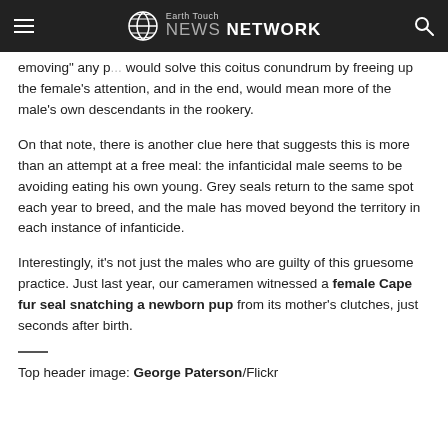Earth Touch NEWS NETWORK
emoving" any p... would solve this coitus conundrum by freeing up the female's attention, and in the end, would mean more of the male's own descendants in the rookery.
On that note, there is another clue here that suggests this is more than an attempt at a free meal: the infanticidal male seems to be avoiding eating his own young. Grey seals return to the same spot each year to breed, and the male has moved beyond the territory in each instance of infanticide.
Interestingly, it's not just the males who are guilty of this gruesome practice. Just last year, our cameramen witnessed a female Cape fur seal snatching a newborn pup from its mother's clutches, just seconds after birth.
Top header image: George Paterson/Flickr